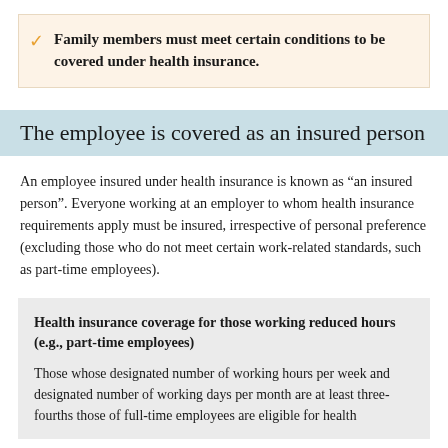Family members must meet certain conditions to be covered under health insurance.
The employee is covered as an insured person
An employee insured under health insurance is known as “an insured person”. Everyone working at an employer to whom health insurance requirements apply must be insured, irrespective of personal preference (excluding those who do not meet certain work-related standards, such as part-time employees).
Health insurance coverage for those working reduced hours (e.g., part-time employees)
Those whose designated number of working hours per week and designated number of working days per month are at least three-fourths those of full-time employees are eligible for health